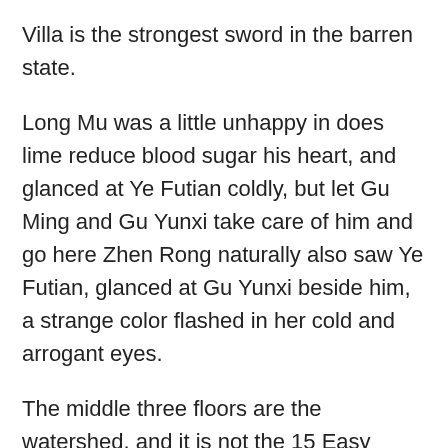Villa is the strongest sword in the barren state.
Long Mu was a little unhappy in does lime reduce blood sugar his heart, and glanced at Ye Futian coldly, but let Gu Ming and Gu Yunxi take care of him and go here Zhen Rong naturally also saw Ye Futian, glanced at Gu Yunxi beside him, a strange color flashed in her cold and arrogant eyes.
The middle three floors are the watershed, and it is not the 15 Easy Ways To Lower Blood Sugar Levels Naturally does lime reduce blood sugar fastest who can step into the last three floors.
When Ye Wuchen and the others came to the battlefield, they only saw corpses all over the ground, and their hearts could not help trembling fiercely.
Everyone does lime reduce blood sugar compares you with Bai